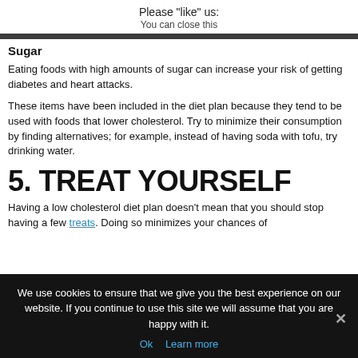Please "like" us:
You can close this
Sugar
Eating foods with high amounts of sugar can increase your risk of getting diabetes and heart attacks.
These items have been included in the diet plan because they tend to be used with foods that lower cholesterol. Try to minimize their consumption by finding alternatives; for example, instead of having soda with tofu, try drinking water.
5. TREAT YOURSELF
Having a low cholesterol diet plan doesn't mean that you should stop having a few treats. Doing so minimizes your chances of
We use cookies to ensure that we give you the best experience on our website. If you continue to use this site we will assume that you are happy with it.
Ok   Learn more